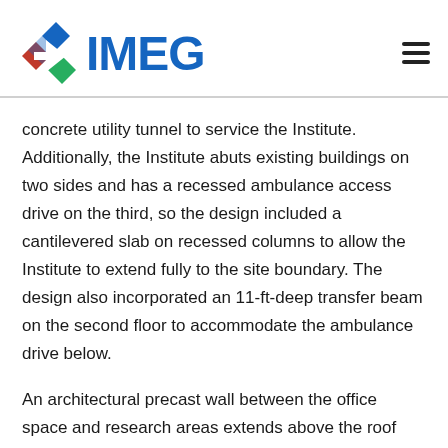[Figure (logo): IMEG logo with diamond/arrow icon in red, green, blue and the text IMEG in bold blue letters]
concrete utility tunnel to service the Institute. Additionally, the Institute abuts existing buildings on two sides and has a recessed ambulance access drive on the third, so the design included a cantilevered slab on recessed columns to allow the Institute to extend fully to the site boundary. The design also incorporated an 11-ft-deep transfer beam on the second floor to accommodate the ambulance drive below.
An architectural precast wall between the office space and research areas extends above the roof line and out from the two opposite facades, defining the two distinct volumes within. Structurally, the design placed columns